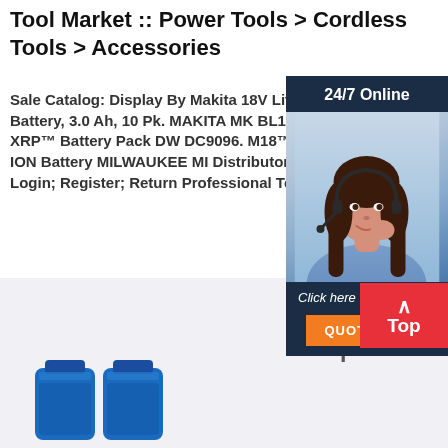Tool Market :: Power Tools > Cordless Tools > Accessories
Sale Catalog: Display By Makita 18V Lithium-Ion Battery, 3.0 Ah, 10 Pk. MAKITA MK BL1830-10. 18V XRP™ Battery Pack DW DC9096. M18™ C LITHIUM-ION Battery MILWAUKEE MI Distributor Login. Login; Register; Return Professional Tool
[Figure (photo): Customer service representative widget with '24/7 Online' header, photo of smiling woman with headset, 'Click here for free chat!' text, and orange QUOTATION button]
[Figure (photo): Bottom image section showing blue cylindrical batteries on light grey background with red 'Top' button overlay]